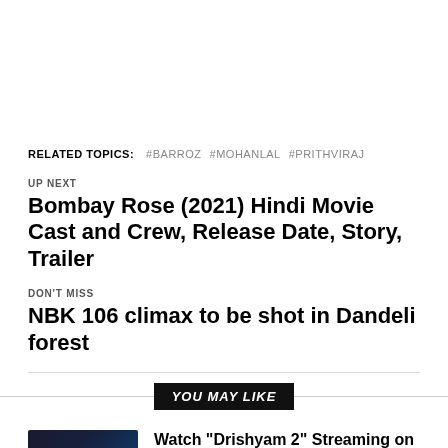RELATED TOPICS: #BARROZ #MOHANLAL #PRITHVIRAJ
UP NEXT
Bombay Rose (2021) Hindi Movie Cast and Crew, Release Date, Story, Trailer
DON'T MISS
NBK 106 climax to be shot in Dandeli forest
YOU MAY LIKE
[Figure (photo): Drishyam 2 movie poster thumbnail]
Watch “Drishyam 2” Streaming on Amazon Prime Video from February 19
[Figure (photo): Drishyam 2 / Amazon Prime Video thumbnail]
Ahead of Drishyam 2 release on Amazon Prime Video acquisition Mohanlal's 2019